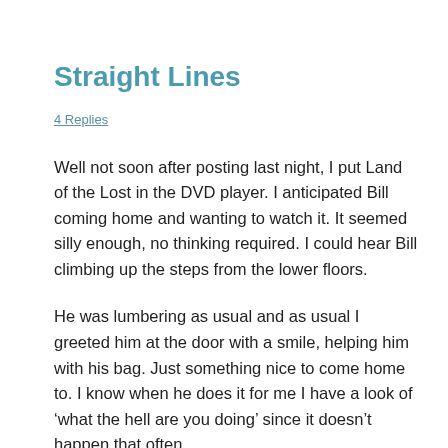Straight Lines
4 Replies
Well not soon after posting last night, I put Land of the Lost in the DVD player. I anticipated Bill coming home and wanting to watch it. It seemed silly enough, no thinking required. I could hear Bill climbing up the steps from the lower floors.
He was lumbering as usual and as usual I greeted him at the door with a smile, helping him with his bag. Just something nice to come home to. I know when he does it for me I have a look of ‘what the hell are you doing’ since it doesn’t happen that often.
And it doesn’t happen that often since he’s not home usually